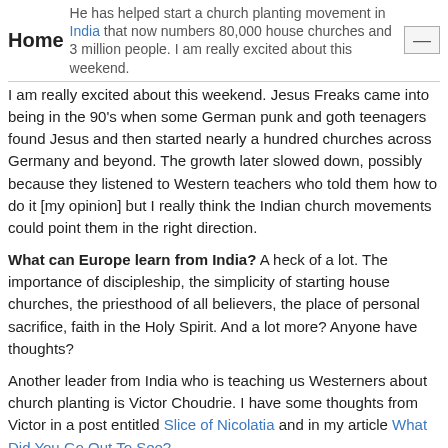Home  He has helped start a church planting movement in [India] that now numbers 80,000 house churches and 3 million people. I am really excited about this weekend.
I am really excited about this weekend. Jesus Freaks came into being in the 90's when some German punk and goth teenagers found Jesus and then started nearly a hundred churches across Germany and beyond. The growth later slowed down, possibly because they listened to Western teachers who told them how to do it [my opinion] but I really think the Indian church movements could point them in the right direction.
What can Europe learn from India? A heck of a lot. The importance of discipleship, the simplicity of starting house churches, the priesthood of all believers, the place of personal sacrifice, faith in the Holy Spirit. And a lot more? Anyone have thoughts?
Another leader from India who is teaching us Westerners about church planting is Victor Choudrie. I have some thoughts from Victor in a post entitled Slice of Nicolatia and in my article What Did You Go Out To See?
Posted at 10:37 PM | Permalink | Comments (9) | TrackBack (0)